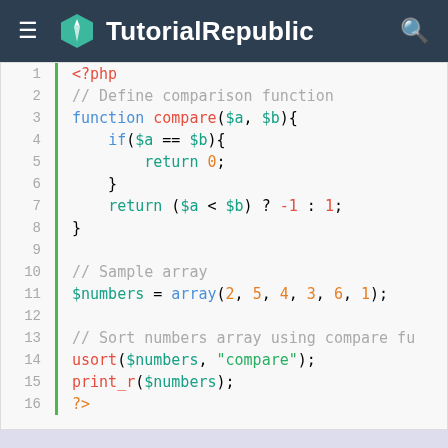TutorialRepublic
[Figure (screenshot): PHP code snippet showing a compare function and usort usage with line numbers 1-16, displayed in a syntax-highlighted code editor with a green left border bar.]